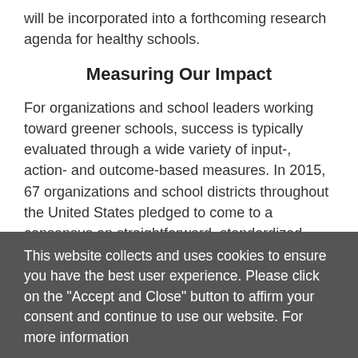will be incorporated into a forthcoming research agenda for healthy schools.
Measuring Our Impact
For organizations and school leaders working toward greener schools, success is typically evaluated through a wide variety of input-, action- and outcome-based measures. In 2015, 67 organizations and school districts throughout the United States pledged to come to a consensus on straightforward, standardized measures of success to enable focused investment, improved engagement and community
This website collects and uses cookies to ensure you have the best user experience. Please click on the "Accept and Close" button to affirm your consent and continue to use our website. For more information